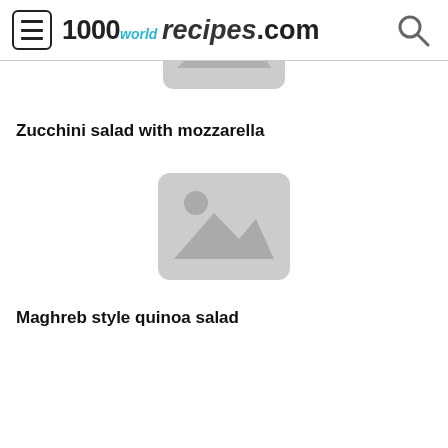1000world recipes.com
[Figure (illustration): Placeholder image thumbnail (partially visible at top) for first recipe]
Zucchini salad with mozzarella
[Figure (illustration): Placeholder image thumbnail for Maghreb style quinoa salad recipe]
Maghreb style quinoa salad